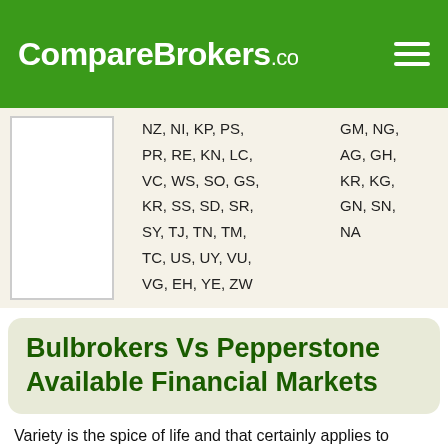CompareBrokers.co
|  | NZ, NI, KP, PS, PR, RE, KN, LC, VC, WS, SO, GS, KR, SS, SD, SR, SY, TJ, TN, TM, TC, US, UY, VU, VG, EH, YE, ZW | GM, NG, AG, GH, KR, KG, GN, SN, NA |
Bulbrokers Vs Pepperstone Available Financial Markets
Variety is the spice of life and that certainly applies to financial markets. A diverse investment portfolio is always recommended. If your investment portfolio is diverse, it helps to protect your investments overall from huge downswings that